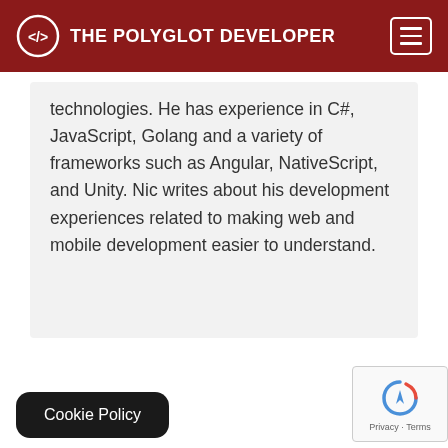THE POLYGLOT DEVELOPER
technologies. He has experience in C#, JavaScript, Golang and a variety of frameworks such as Angular, NativeScript, and Unity. Nic writes about his development experiences related to making web and mobile development easier to understand.
Cookie Policy